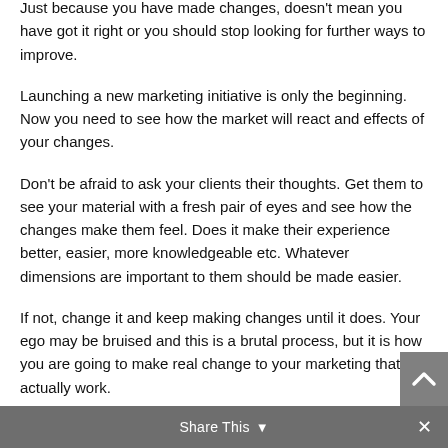Just because you have made changes, doesn't mean you have got it right or you should stop looking for further ways to improve.
Launching a new marketing initiative is only the beginning. Now you need to see how the market will react and effects of your changes.
Don't be afraid to ask your clients their thoughts. Get them to see your material with a fresh pair of eyes and see how the changes make them feel. Does it make their experience better, easier, more knowledgeable etc. Whatever dimensions are important to them should be made easier.
If not, change it and keep making changes until it does. Your ego may be bruised and this is a brutal process, but it is how you are going to make real change to your marketing that will actually work.
Share This